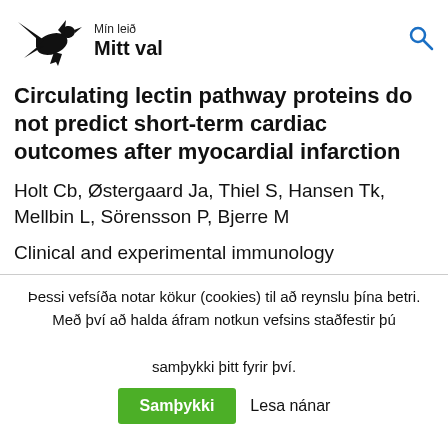[Figure (logo): Mín leið Mitt val logo with a black bird/raven silhouette and text]
Circulating lectin pathway proteins do not predict short-term cardiac outcomes after myocardial infarction
Holt Cb, Østergaard Ja, Thiel S, Hansen Tk, Mellbin L, Sörensson P, Bjerre M
Clinical and experimental immunology
Þessi vefsíða notar kökur (cookies) til að reynslu þína betri. Með því að halda áfram notkun vefsins staðfestir þú samþykki þitt fyrir því.
Samþykki  Lesa nánar